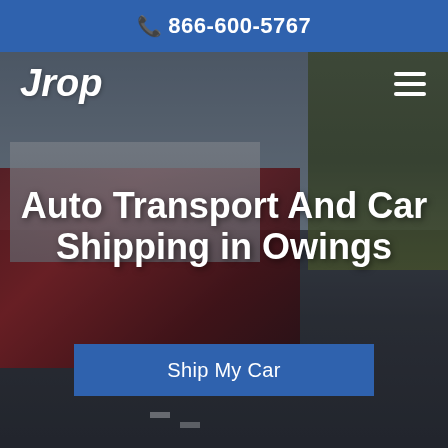866-600-5767
Jrop
[Figure (photo): A car carrier truck transporting multiple vehicles on a highway with autumn trees and cloudy sky in the background]
Auto Transport And Car Shipping in Owings
Ship My Car